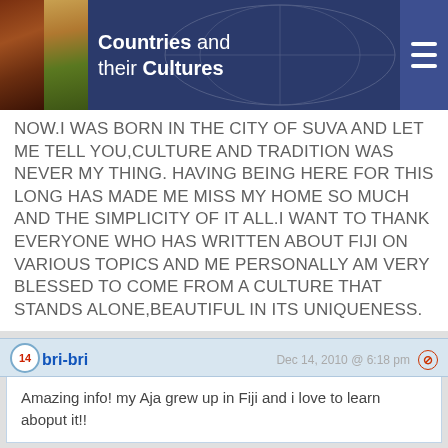Countries and their Cultures
NOW.I WAS BORN IN THE CITY OF SUVA AND LET ME TELL YOU,CULTURE AND TRADITION WAS NEVER MY THING. HAVING BEING HERE FOR THIS LONG HAS MADE ME MISS MY HOME SO MUCH AND THE SIMPLICITY OF IT ALL.I WANT TO THANK EVERYONE WHO HAS WRITTEN ABOUT FIJI ON VARIOUS TOPICS AND ME PERSONALLY AM VERY BLESSED TO COME FROM A CULTURE THAT STANDS ALONE,BEAUTIFUL IN ITS UNIQUENESS.
14 bri-bri Dec 14, 2010 @ 6:18 pm
Amazing info! my Aja grew up in Fiji and i love to learn aboput it!!
15 nawa Feb 10, 2011 @ 3:03 am
i'm a fijian and don't even know about my country history this really helps thank you
16